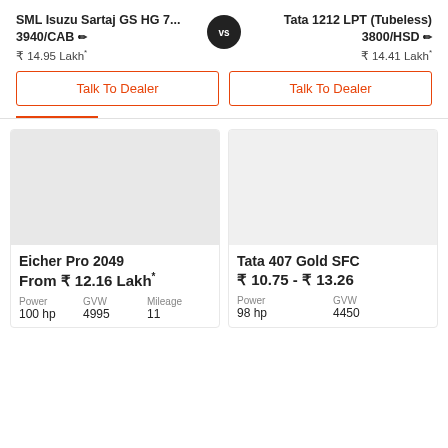SML Isuzu Sartaj GS HG 7... 3940/CAB ✏ ₹ 14.95 Lakh*
VS
Tata 1212 LPT (Tubeless) 3800/HSD ✏ ₹ 14.41 Lakh*
Talk To Dealer
Talk To Dealer
[Figure (screenshot): Gray placeholder image for Eicher Pro 2049 vehicle card]
Eicher Pro 2049
From ₹ 12.16 Lakh*
Power 100 hp
GVW 4995
Mileage 11
[Figure (screenshot): Gray placeholder image for Tata 407 Gold SFC vehicle card]
Tata 407 Gold SFC
₹ 10.75 - ₹ 13.26
Power 98 hp
GVW 4450